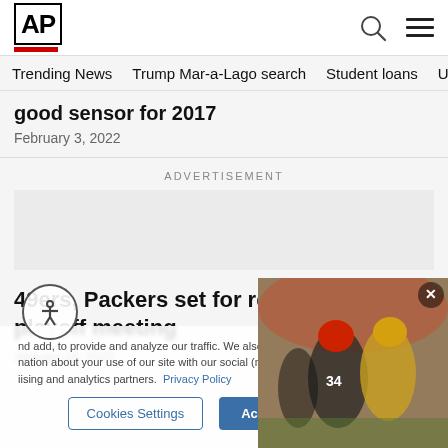AP
Trending News   Trump Mar-a-Lago search   Student loans   U.S.
good sensor for 2017
February 3, 2022
ADVERTISEMENT
49ers, Packers set for record-tying 9th playoff meeting
January 19, 2022
[Figure (photo): Football players from 49ers and Packers in action during a playoff game]
nd add, to provide and analyze our traffic. We also share information about your use of our site with our social (media, advertising and analytics partners. Privacy Policy
Cookies Settings   Accept All Cookies